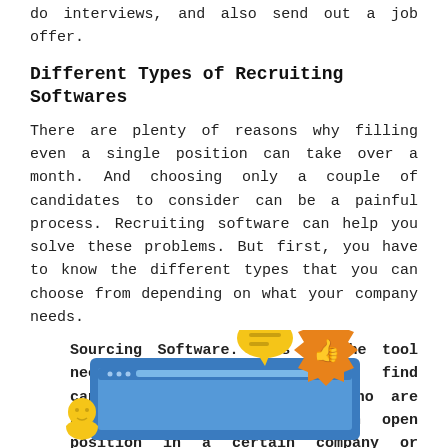do interviews, and also send out a job offer.
Different Types of Recruiting Softwares
There are plenty of reasons why filling even a single position can take over a month. And choosing only a couple of candidates to consider can be a painful process. Recruiting software can help you solve these problems. But first, you have to know the different types that you can choose from depending on what your company needs.
Sourcing Software. This is the tool needed to help a recruiter find candidates, including those who are not actively looking for an open position in a certain company or organization.
[Figure (illustration): An illustration showing a computer screen with a thumbs-up badge icon in orange, a speech bubble in yellow, and a person icon in yellow at the bottom left.]